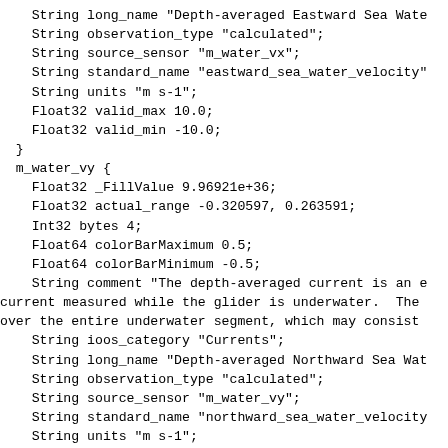String long_name "Depth-averaged Eastward Sea Wate
    String observation_type "calculated";
    String source_sensor "m_water_vx";
    String standard_name "eastward_sea_water_velocity"
    String units "m s-1";
    Float32 valid_max 10.0;
    Float32 valid_min -10.0;
  }
  m_water_vy {
    Float32 _FillValue 9.96921e+36;
    Float32 actual_range -0.320597, 0.263591;
    Int32 bytes 4;
    Float64 colorBarMaximum 0.5;
    Float64 colorBarMinimum -0.5;
    String comment "The depth-averaged current is an e
current measured while the glider is underwater.  The
over the entire underwater segment, which may consist
    String ioos_category "Currents";
    String long_name "Depth-averaged Northward Sea Wat
    String observation_type "calculated";
    String source_sensor "m_water_vy";
    String standard_name "northward_sea_water_velocity
    String units "m s-1";
    Float32 valid_max 10.0;
    Float32 valid_min -10.0;
  }